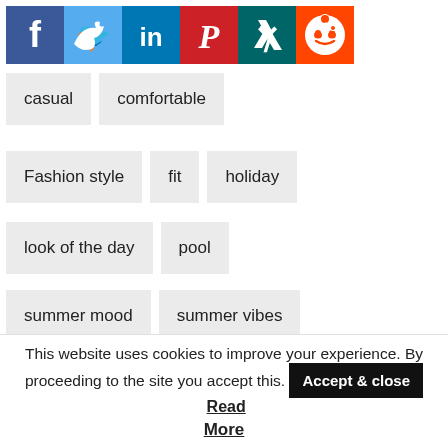[Figure (infographic): Social media share icons: Facebook (blue), Twitter (light blue), LinkedIn (dark blue), Pinterest (red), XING (dark teal), Reddit (red)]
casual
comfortable
Fashion style
fit
holiday
look of the day
pool
summer mood
summer vibes
summertime
swim
swimsuit
What I wore
This website uses cookies to improve your experience. By proceeding to the site you accept this. Accept & close Read More